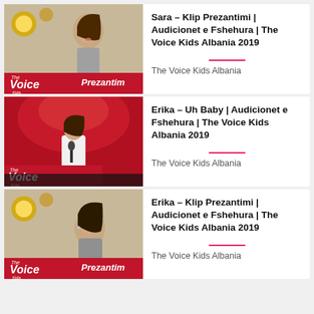[Figure (screenshot): Video thumbnail for Sara – Klip Prezantimi, showing a young girl with The Voice Kids Albania logo and 'Prezantim' banner]
Sara – Klip Prezantimi | Audicionet e Fshehura | The Voice Kids Albania 2019
The Voice Kids Albania
[Figure (screenshot): Video thumbnail for Erika – Uh Baby, showing a young girl singing on a red-lit stage with The Voice Kids logo]
Erika – Uh Baby | Audicionet e Fshehura | The Voice Kids Albania 2019
The Voice Kids Albania
[Figure (screenshot): Video thumbnail for Erika – Klip Prezantimi, showing a young girl with The Voice Kids Albania logo and 'Prezantim' banner]
Erika – Klip Prezantimi | Audicionet e Fshehura | The Voice Kids Albania 2019
The Voice Kids Albania